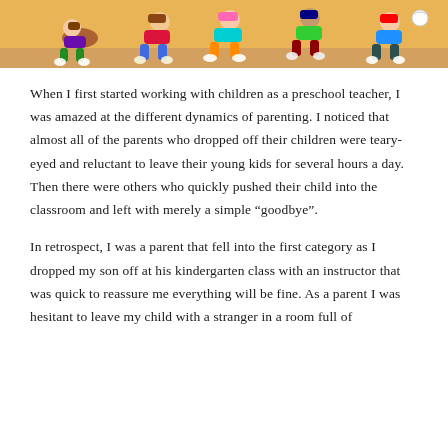[Figure (illustration): Cartoon illustration of multiple children in colorful clothing piled or lying together on a sandy/tan background, viewed from above]
When I first started working with children as a preschool teacher, I was amazed at the different dynamics of parenting. I noticed that almost all of the parents who dropped off their children were teary-eyed and reluctant to leave their young kids for several hours a day. Then there were others who quickly pushed their child into the classroom and left with merely a simple "goodbye".
In retrospect, I was a parent that fell into the first category as I dropped my son off at his kindergarten class with an instructor that was quick to reassure me everything will be fine. As a parent I was hesitant to leave my child with a stranger in a room full of